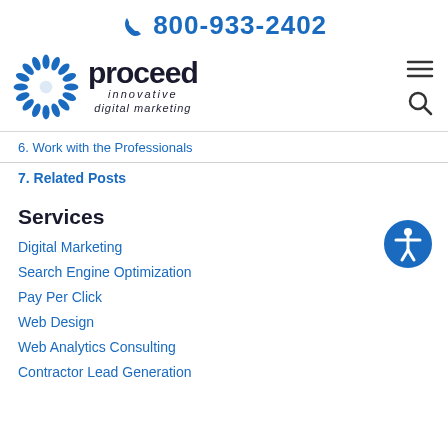800-933-2402
[Figure (logo): Proceed Innovative digital marketing logo with sunburst icon]
6. Work with the Professionals
7. Related Posts
Services
Digital Marketing
Search Engine Optimization
Pay Per Click
Web Design
Web Analytics Consulting
Contractor Lead Generation